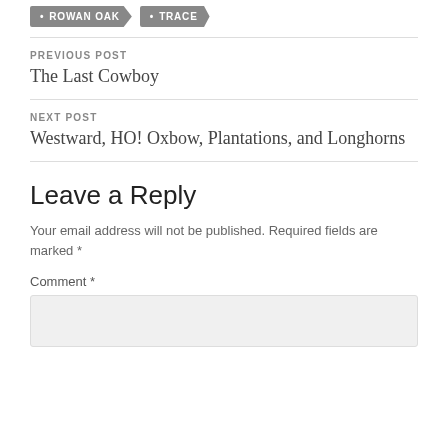• ROWAN OAK
• TRACE
PREVIOUS POST
The Last Cowboy
NEXT POST
Westward, HO! Oxbow, Plantations, and Longhorns
Leave a Reply
Your email address will not be published. Required fields are marked *
Comment *